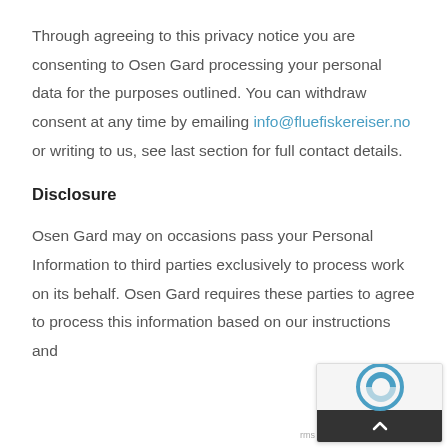Through agreeing to this privacy notice you are consenting to Osen Gard processing your personal data for the purposes outlined. You can withdraw consent at any time by emailing info@fluefiskereiser.no or writing to us, see last section for full contact details.
Disclosure
Osen Gard may on occasions pass your Personal Information to third parties exclusively to process work on its behalf. Osen Gard requires these parties to agree to process this information based on our instructions and